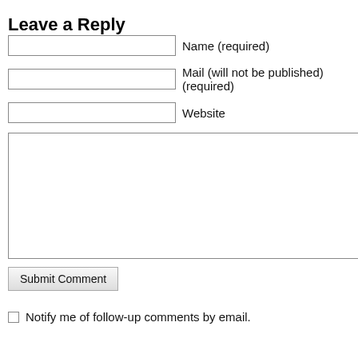Leave a Reply
Name (required)
Mail (will not be published) (required)
Website
Submit Comment
Notify me of follow-up comments by email.